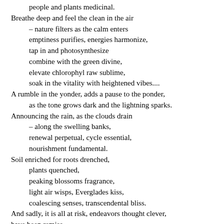people and plants medicinal.
Breathe deep and feel the clean in the air
 – nature filters as the calm enters
 emptiness purifies, energies harmonize,
 tap in and photosynthesize
 combine with the green divine,
 elevate chlorophyl raw sublime,
 soak in the vitality with heightened vibes....
A rumble in the yonder, adds a pause to the ponder,
 as the tone grows dark and the lightning sparks.
Announcing the rain, as the clouds drain
 – along the swelling banks,
 renewal perpetual, cycle essential,
 nourishment fundamental.
Soil enriched for roots drenched,
 plants quenched,
 peaking blossoms fragrance,
 light air wisps, Everglades kiss,
 coalescing senses, transcendental bliss.
And sadly, it is all at risk, endeavors thought clever,
have been remiss.